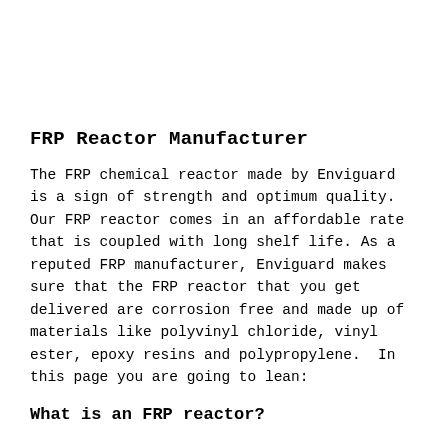FRP Reactor Manufacturer
The FRP chemical reactor made by Enviguard is a sign of strength and optimum quality.   Our FRP reactor comes in an affordable rate that is coupled with long shelf life. As a reputed FRP manufacturer, Enviguard makes sure that the FRP reactor that you get delivered are corrosion free and made up of materials like polyvinyl chloride, vinyl ester, epoxy resins and polypropylene.  In this page you are going to lean:
What is an FRP reactor?